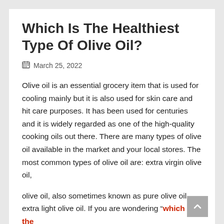Which Is The Healthiest Type Of Olive Oil?
March 25, 2022
Olive oil is an essential grocery item that is used for cooling mainly but it is also used for skin care and hit care purposes. It has been used for centuries and it is widely regarded as one of the high-quality cooking oils out there. There are many types of olive oil available in the market and your local stores. The most common types of olive oil are: extra virgin olive oil,
olive oil, also sometimes known as pure olive oil, extra light olive oil. If you are wondering "which is the